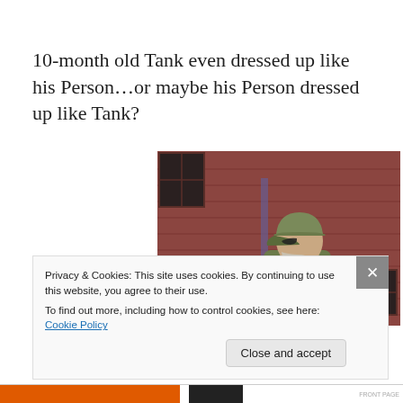10-month old Tank even dressed up like his Person…or maybe his Person dressed up like Tank?
[Figure (photo): A bearded man wearing a camouflage cap and camouflage jacket standing in front of a dark red/maroon painted brick or wooden wall. A window is visible in the upper left. The man is seen in profile, looking to the right.]
Privacy & Cookies: This site uses cookies. By continuing to use this website, you agree to their use.
To find out more, including how to control cookies, see here: Cookie Policy